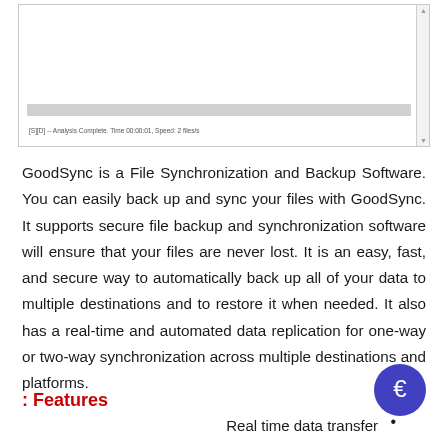[Figure (screenshot): Screenshot of GoodSync application interface showing a progress bar and status text reading '[S][D] -- Analysis Complete. Time 00:00:01, Speed: 2 files/s']
GoodSync is a File Synchronization and Backup Software. You can easily back up and sync your files with GoodSync. It supports secure file backup and synchronization software will ensure that your files are never lost. It is an easy, fast, and secure way to automatically back up all of your data to multiple destinations and to restore it when needed. It also has a real-time and automated data replication for one-way or two-way synchronization across multiple destinations and platforms.
: Features
Real time data transfer